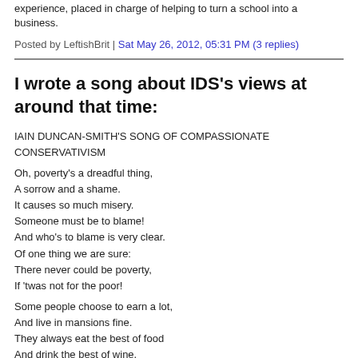experience, placed in charge of helping to turn a school into a business.
Posted by LeftishBrit | Sat May 26, 2012, 05:31 PM (3 replies)
I wrote a song about IDS's views at around that time:
IAIN DUNCAN-SMITH'S SONG OF COMPASSIONATE CONSERVATIVISM
Oh, poverty's a dreadful thing,
A sorrow and a shame.
It causes so much misery.
Someone must be to blame!
And who's to blame is very clear.
Of one thing we are sure:
There never could be poverty,
If 'twas not for the poor!
Some people choose to earn a lot,
And live in mansions fine.
They always eat the best of food
And drink the best of wine.
We're glad they made this lifestyle choice.
It should be made by more.